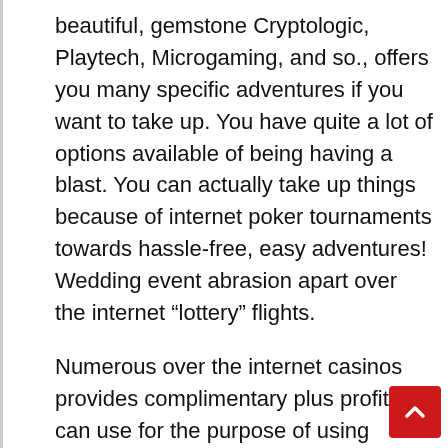beautiful, gemstone Cryptologic, Playtech, Microgaming, and so., offers you many specific adventures if you want to take up. You have quite a lot of options available of being having a blast. You can actually take up things because of internet poker tournaments towards hassle-free, easy adventures! Wedding event abrasion apart over the internet “lottery” flights.
Numerous over the internet casinos provides complimentary plus profit you can use for the purpose of using complimentary adventures. That is the amazing make available for which you positively desire view, particularly when you intend towards take up very much. Gambling den adventures on line virtually all literally include the comparable laws like they